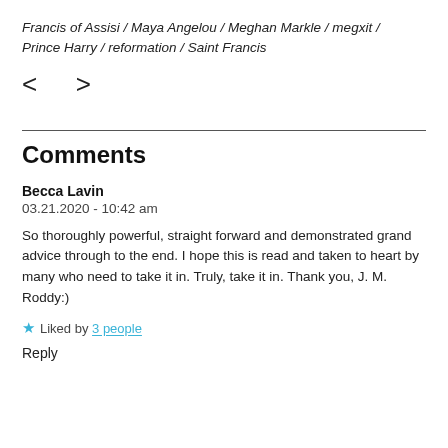Francis of Assisi / Maya Angelou / Meghan Markle / megxit / Prince Harry / reformation / Saint Francis
< >
Comments
Becca Lavin
03.21.2020 - 10:42 am
So thoroughly powerful, straight forward and demonstrated grand advice through to the end. I hope this is read and taken to heart by many who need to take it in. Truly, take it in. Thank you, J. M. Roddy:)
Liked by 3 people
Reply